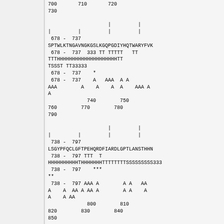700       710       720
730

                    |         |
|         |         |         |
 678 -  737
SPTWLKTNGAVNGKGSLKGQPGDIYHQTWARYFVK
 678 -  737  333 TT TTTTT   TT
TTTHHHHHHHHHHHHHHHHHHHHHTT
TSST TT33333
 678 -  737    *
 678 -  737    A   AAA  A A
AAA        A    A    A  A    AAA A
A
             740        750
760        770        780
790

                    |         |
|         |         |         |
 738 -  797
LSGYPFQCLGFTPEHQRDFIARDLGPTLANSTHHN
 738 -  797 TTT  T
HHHHHHHHHHHTHHHHHHHTTTTTTTTSSSSSSSSS333
 738 -  797    ***
**
 738 -  797 AAA A        A A   AA
A    A  AA A AA A        A A    A
A    A AA
             800        810
820        830        840
850

                    |         |
|         |         |         |
 798 -  857